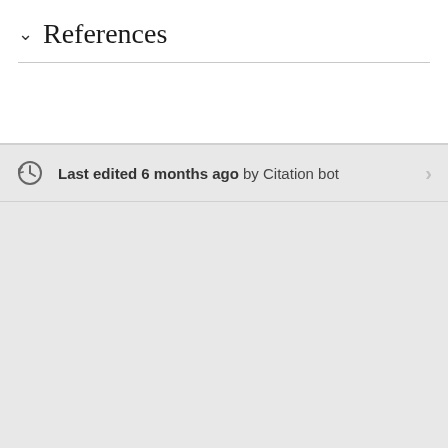References
Last edited 6 months ago by Citation bot